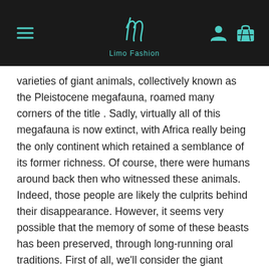Limo Fashion
varieties of giant animals, collectively known as the Pleistocene megafauna, roamed many corners of the title . Sadly, virtually all of this megafauna is now extinct, with Africa really being the only continent which retained a semblance of its former richness. Of course, there were humans around back then who witnessed these animals. Indeed, those people are likely the culprits behind their disappearance. However, it seems very possible that the memory of some of these beasts has been preserved, through long-running oral traditions. First of all, we'll consider the giant snake Wonambi naracoortensis. It has been proposed that Wonambi naracoortensis may have been the origin of the famous Rainbow Serpent of Aboriginal folklore. In the mythology of some Australian peoples, the Rainbow Serpent is